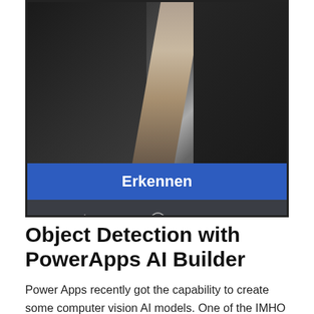[Figure (screenshot): A smartphone screenshot showing a dark photo (object detection app) with a blue 'Erkennen' button and Android navigation bar at the bottom.]
Object Detection with PowerApps AI Builder
Power Apps recently got the capability to create some computer vision AI models. One of the IMHO most popular ones is called object detection, which is used to detect